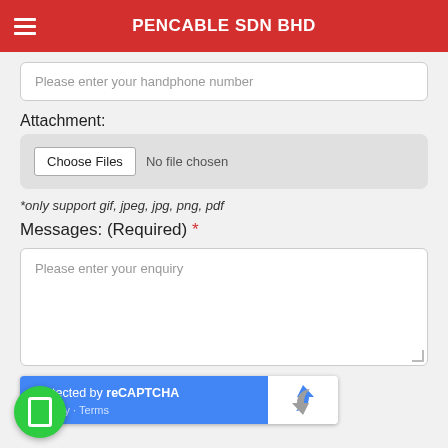PENCABLE SDN BHD
Please enter your handphone number
Attachment:
[Figure (screenshot): File input widget showing 'Choose Files' button and 'No file chosen' text on grey background]
*only support gif, jpeg, jpg, png, pdf
Messages: (Required) *
Please enter your enquiry
[Figure (screenshot): reCAPTCHA widget with blue left panel showing 'protected by reCAPTCHA' and Privacy - Terms links, white right panel with reCAPTCHA logo]
[Figure (screenshot): Green circular button with white rectangle icon]